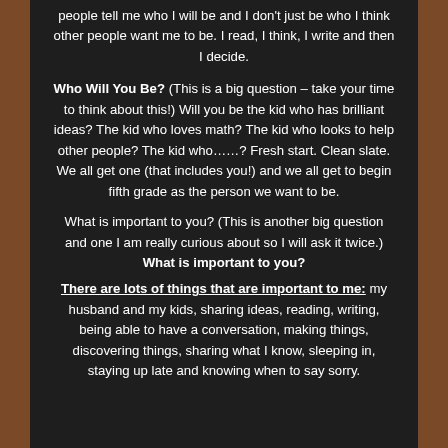people tell me who I will be and I don't just be who I think other people want me to be. I read, I think, I write and then I decide.
Who Will You Be? (This is a big question – take your time to think about this!) Will you be the kid who has brilliant ideas? The kid who loves math? The kid who looks to help other people? The kid who……? Fresh start. Clean slate. We all get one (that includes you!) and we all get to begin fifth grade as the person we want to be.
What is important to you? (This is another big question and one I am really curious about so I will ask it twice.) What is important to you?
There are lots of things that are important to me: my husband and my kids, sharing ideas, reading, writing, being able to have a conversation, making things, discovering things, sharing what I know, sleeping in, staying up late and knowing when to say sorry.